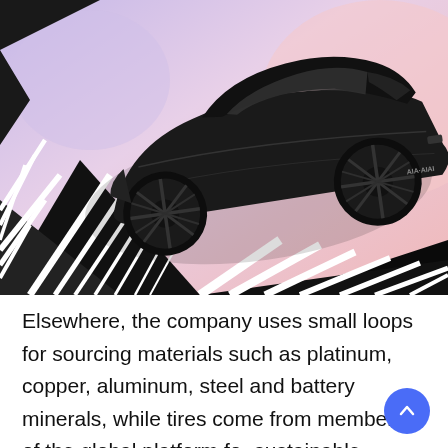[Figure (photo): A sleek black futuristic concept SUV/crossover vehicle shown in a dynamic angle against a pastel purple and pink background, with a black and white geometric abstract ground/road element beneath it.]
Elsewhere, the company uses small loops for sourcing materials such as platinum, copper, aluminum, steel and battery minerals, while tires come from members of the global platform for sustainable natural rubber (GNSPR). Fuel cells